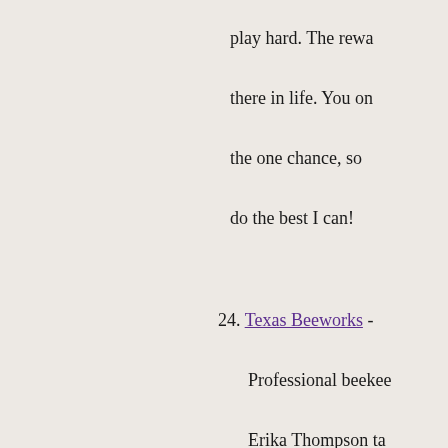play hard. The rewa there in life. You on the one chance, so do the best I can!
24. Texas Beeworks - Professional beekeeper Erika Thompson takes inside the hive with exciting educational instructional beekeeping videos.
25. Treatment Free Bee - Learn about Treatment Free Beekeeping, k